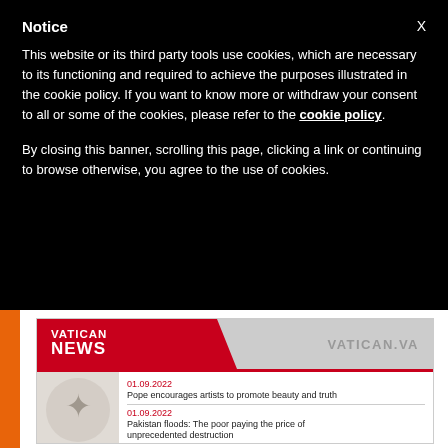Notice
This website or its third party tools use cookies, which are necessary to its functioning and required to achieve the purposes illustrated in the cookie policy. If you want to know more or withdraw your consent to all or some of the cookies, please refer to the cookie policy.
By closing this banner, scrolling this page, clicking a link or continuing to browse otherwise, you agree to the use of cookies.
[Figure (screenshot): Vatican News website screenshot showing header with red 'VATICAN NEWS' logo and 'VATICAN.VA' text, with two news items dated 01.09.2022: 'Pope encourages artists to promote beauty and truth' and 'Pakistan floods: The poor paying the price of unprecedented destruction']